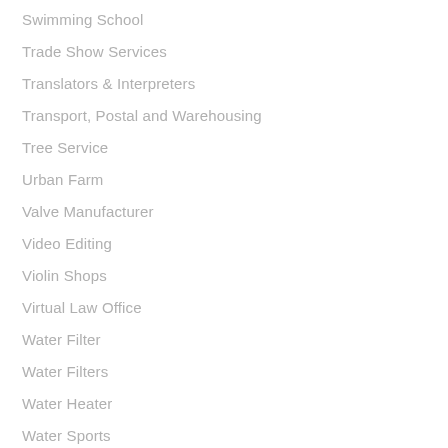Swimming School
Trade Show Services
Translators & Interpreters
Transport, Postal and Warehousing
Tree Service
Urban Farm
Valve Manufacturer
Video Editing
Violin Shops
Virtual Law Office
Water Filter
Water Filters
Water Heater
Water Sports
Water Treatment Supplier